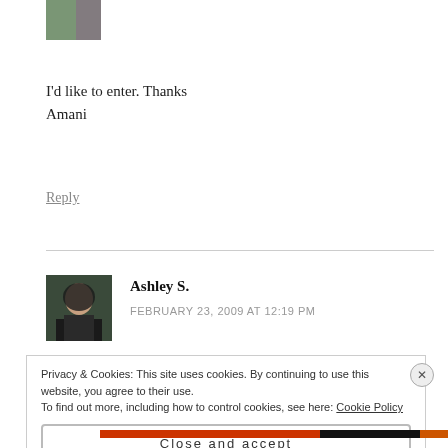[Figure (photo): Small avatar photo of a person, partially visible at top left]
I'd like to enter. Thanks
Amani
Reply
[Figure (photo): Avatar photo of Ashley S., a woman with dark hair wearing a black and white outfit]
Ashley S.
FEBRUARY 23, 2009 AT 12:19 PM
Privacy & Cookies: This site uses cookies. By continuing to use this website, you agree to their use.
To find out more, including how to control cookies, see here: Cookie Policy
Close and accept